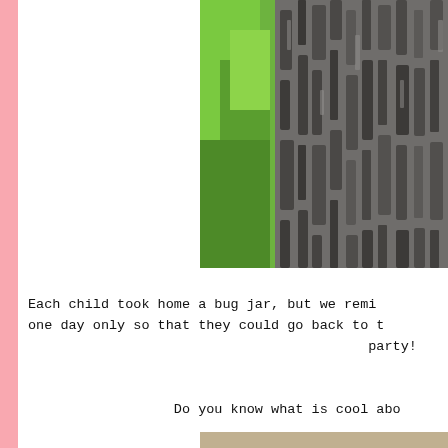[Figure (photo): Close-up photograph of tree bark with rough, dark grey texture and green leaves visible in the background on the left side.]
Each child took home a bug jar, but we remi... one day only so that they could go back to t... party!
Do you know what is cool abo...